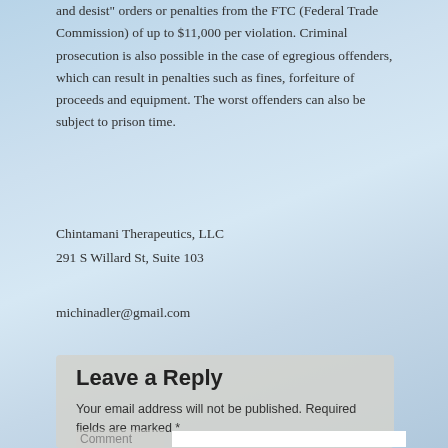and desist" orders or penalties from the FTC (Federal Trade Commission) of up to $11,000 per violation. Criminal prosecution is also possible in the case of egregious offenders, which can result in penalties such as fines, forfeiture of proceeds and equipment. The worst offenders can also be subject to prison time.
Chintamani Therapeutics, LLC
291 S Willard St, Suite 103
michinadler@gmail.com
Leave a Reply
Your email address will not be published. Required fields are marked *